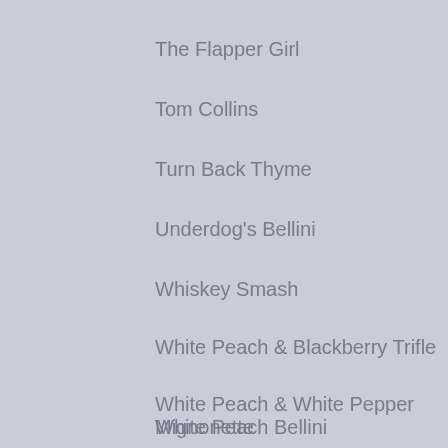The Flapper Girl
Tom Collins
Turn Back Thyme
Underdog's Bellini
Whiskey Smash
White Peach & Blackberry Trifle
White Peach & White Pepper Mignonette
White Peach Bellini